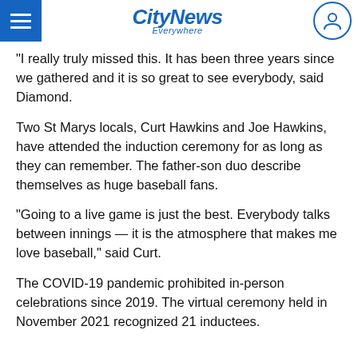CityNews Everywhere
“I really truly missed this. It has been three years since we gathered and it is so great to see everybody, said Diamond.
Two St Marys locals, Curt Hawkins and Joe Hawkins, have attended the induction ceremony for as long as they can remember. The father-son duo describe themselves as huge baseball fans.
“Going to a live game is just the best. Everybody talks between innings — it is the atmosphere that makes me love baseball,” said Curt.
The COVID-19 pandemic prohibited in-person celebrations since 2019. The virtual ceremony held in November 2021 recognized 21 inductees.